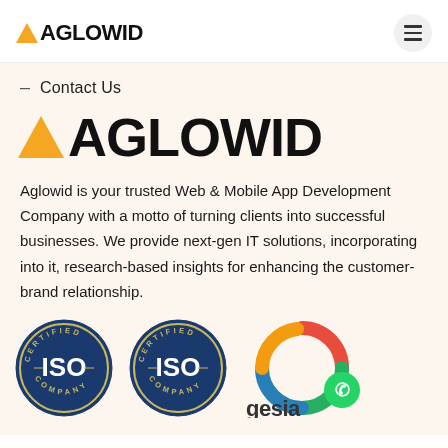[Figure (logo): Aglowid logo in header with orange triangle and bold text AGLOWID]
[Figure (other): Hamburger menu icon in circular button]
– Contact Us
[Figure (logo): Large Aglowid logo with orange triangle and AGLOWID text]
Aglowid is your trusted Web & Mobile App Development Company with a motto of turning clients into successful businesses. We provide next-gen IT solutions, incorporating into it, research-based insights for enhancing the customer-brand relationship.
[Figure (logo): ISO Certified Company badge (circular, navy blue)]
[Figure (logo): ISO Certified Company badge (circular, navy blue)]
[Figure (logo): GESIA logo with colorful circular mark and WhatsApp icon]